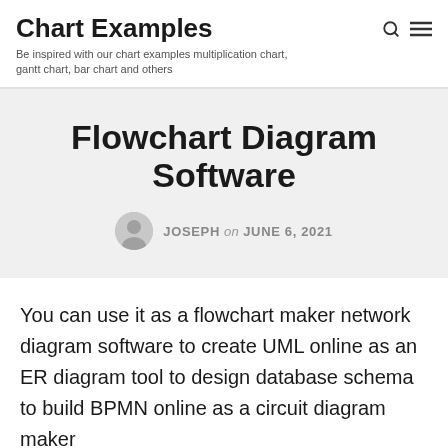Chart Examples
Be inspired with our chart examples multiplication chart, gantt chart, bar chart and others
Flowchart Diagram Software
JOSEPH on JUNE 6, 2021
You can use it as a flowchart maker network diagram software to create UML online as an ER diagram tool to design database schema to build BPMN online as a circuit diagram maker